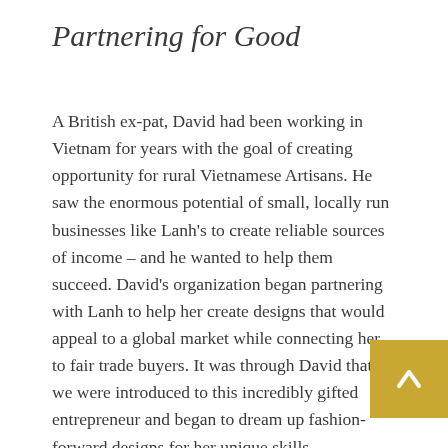Partnering for Good
A British ex-pat, David had been working in Vietnam for years with the goal of creating opportunity for rural Vietnamese Artisans. He saw the enormous potential of small, locally run businesses like Lanh's to create reliable sources of income – and he wanted to help them succeed. David's organization began partnering with Lanh to help her create designs that would appeal to a global market while connecting her to fair trade buyers. It was through David that we were introduced to this incredibly gifted entrepreneur and began to dream up fashion-forward designs for her unique skills.
[Figure (other): Gold/yellow square button with upward-pointing arrow caret, positioned bottom-right corner]